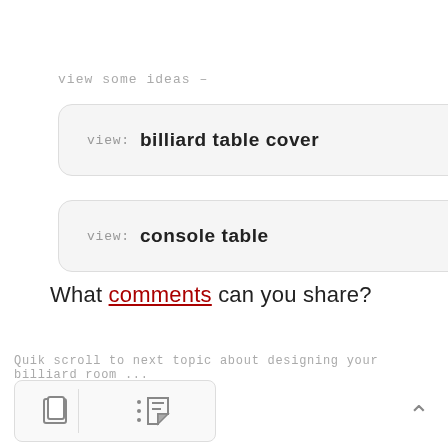view some ideas –
view: billiard table cover
view: console table
What comments can you share?
Quik scroll to next topic about designing your billiard room ...
[Figure (infographic): Navigation box with two icon buttons: a page/document icon on the left and a download/scroll icon on the right]